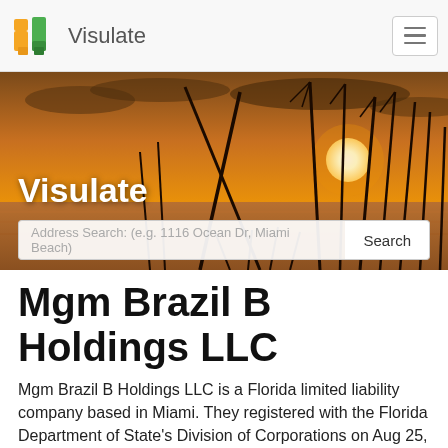Visulate
[Figure (illustration): Hero banner image showing a sunset over water with tall grass/reeds silhouetted against an orange sky, with 'Visulate' text overlay and a search bar]
Mgm Brazil B Holdings LLC
Mgm Brazil B Holdings LLC is a Florida limited liability company based in Miami. They registered with the Florida Department of State's Division of Corporations on Aug 25, 2017.